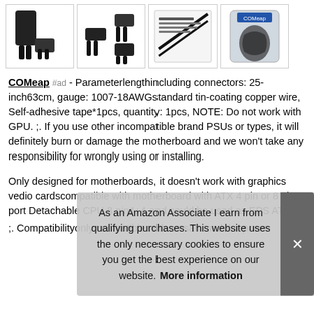[Figure (photo): Four product thumbnail images of cable connectors/PC power cables in a row]
COMeap #ad - Parameter‎lengthincluding connectors: 25-inch63cm, gauge: 1007-18AWGstandard tin-coating copper wire, Self-adhesive tape*1pcs, quantity: 1pcs, NOTE: Do not work with GPU. ;. If you use other incompatible brand PSUs or types, it will definitely burn or damage the motherboard and we won't take any responsibility for wrongly using or installing.
Only designed for motherboards, it doesn't work with graphics vedio cards‎compatible with motherboard with ATX 4 pin or 8 pin port.Detachable CPU 8 pin4+4 end could be used as EPS ATX
As an Amazon Associate I earn from qualifying purchases. This website uses the only necessary cookies to ensure you get the best experience on our website. More information
;. Compatibility‎only compatible with corsair modular power